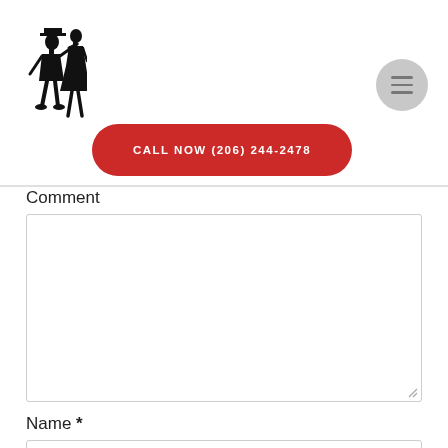[Figure (logo): Black silhouette illustration of a dancing couple (man in top hat, woman in dress) - dance studio logo]
[Figure (other): Gray circular menu/hamburger icon button in top right corner]
CALL NOW (206) 244-2478
Comment
Name *